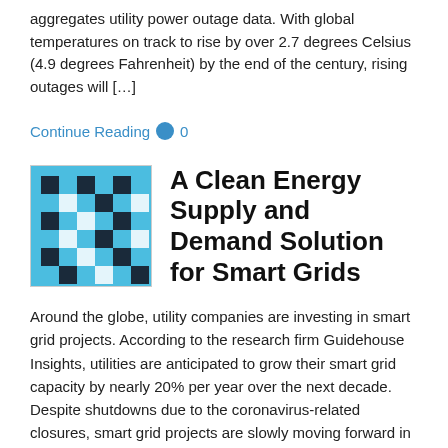aggregates utility power outage data. With global temperatures on track to rise by over 2.7 degrees Celsius (4.9 degrees Fahrenheit) by the end of the century, rising outages will […]
Continue Reading 🗨 0
[Figure (illustration): Blue and dark square checkerboard pattern thumbnail image for article]
A Clean Energy Supply and Demand Solution for Smart Grids
Around the globe, utility companies are investing in smart grid projects. According to the research firm Guidehouse Insights, utilities are anticipated to grow their smart grid capacity by nearly 20% per year over the next decade.  Despite shutdowns due to the coronavirus-related closures, smart grid projects are slowly moving forward in some regions. In India, […]